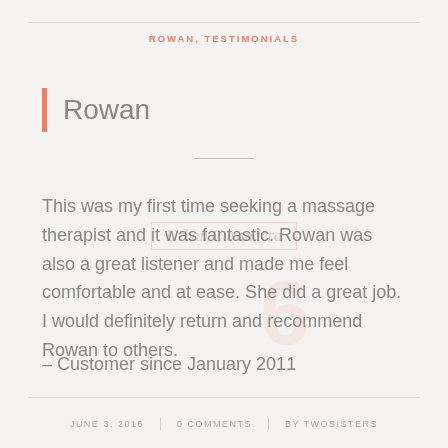ROWAN, TESTIMONIALS
Rowan
This was my first time seeking a massage therapist and it was fantastic. Rowan was also a great listener and made me feel comfortable and at ease. She did a great job. I would definitely return and recommend Rowan to others.
– Customer since January 2011
JUNE 3, 2016  |  0 COMMENTS  |  BY TWOSISTERS